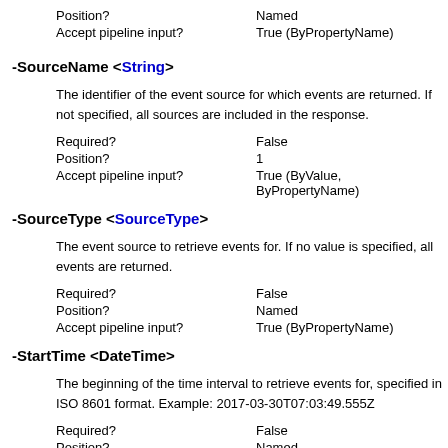Position?    Named
Accept pipeline input?    True (ByPropertyName)
-SourceName <String>
The identifier of the event source for which events are returned. If not specified, all sources are included in the response.
Required?    False
Position?    1
Accept pipeline input?    True (ByValue, ByPropertyName)
-SourceType <SourceType>
The event source to retrieve events for. If no value is specified, all events are returned.
Required?    False
Position?    Named
Accept pipeline input?    True (ByPropertyName)
-StartTime <DateTime>
The beginning of the time interval to retrieve events for, specified in ISO 8601 format. Example: 2017-03-30T07:03:49.555Z
Required?    False
Position?    Named
Accept pipeline input?    True (ByPropertyName)